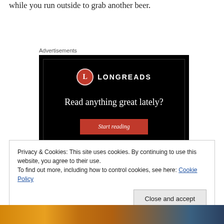while you run outside to grab another beer.
Advertisements
[Figure (other): Longreads advertisement banner with black background, red circular logo with 'L', text 'Read anything great lately?' and a red 'Start reading' button]
Privacy & Cookies: This site uses cookies. By continuing to use this website, you agree to their use.
To find out more, including how to control cookies, see here: Cookie Policy
Close and accept
[Figure (photo): Bottom strip showing food items in orange/yellow tones]